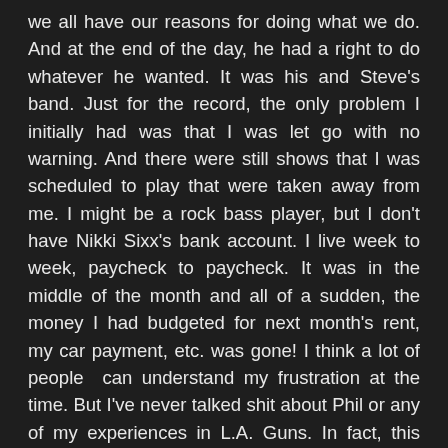we all have our reasons for doing what we do. And at the end of the day, he had a right to do whatever he wanted. It was his and Steve's band. Just for the record, the only problem I initially had was that I was let go with no warning. And there were still shows that I was scheduled to play that were taken away from me. I might be a rock bass player, but I don't have Nikki Sixx's bank account. I live week to week, paycheck to paycheck. It was in the middle of the month and all of a sudden, the money I had budgeted for next month's rent, my car payment, etc. was gone! I think a lot of people  can understand my frustration at the time. But I've never talked shit about Phil or any of my experiences in L.A. Guns. In fact, this interview and most of everything in my life since, would not be happening at all if it wasn't for Phil. I'm eternally grateful to him and I